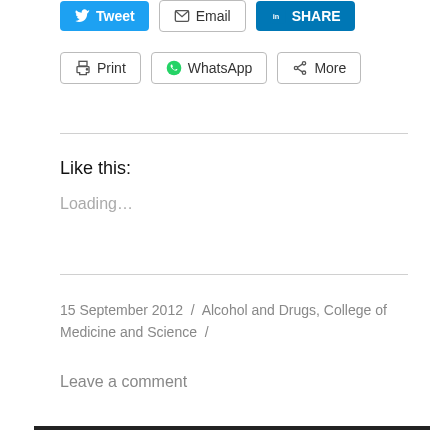[Figure (other): Social share buttons row 1: Tweet (blue), Email (outlined), LinkedIn SHARE (blue)]
[Figure (other): Social share buttons row 2: Print (outlined), WhatsApp (outlined), More (outlined)]
Like this:
Loading...
15 September 2012 / Alcohol and Drugs, College of Medicine and Science /
Leave a comment